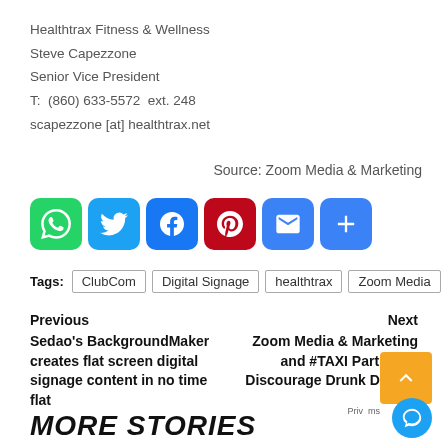Healthtrax Fitness & Wellness
Steve Capezzone
Senior Vice President
T:  (860) 633-5572  ext. 248
scapezzone [at] healthtrax.net
Source: Zoom Media & Marketing
[Figure (other): Social sharing icons: WhatsApp (green), Twitter (blue), Facebook (dark blue), Pinterest (red), Email (blue envelope), More (blue plus)]
Tags:  ClubCom  Digital Signage  healthtrax  Zoom Media
Previous
Sedao's BackgroundMaker creates flat screen digital signage content in no time flat
Next
Zoom Media & Marketing and #TAXI Partner to Discourage Drunk Driving
MORE STORIES